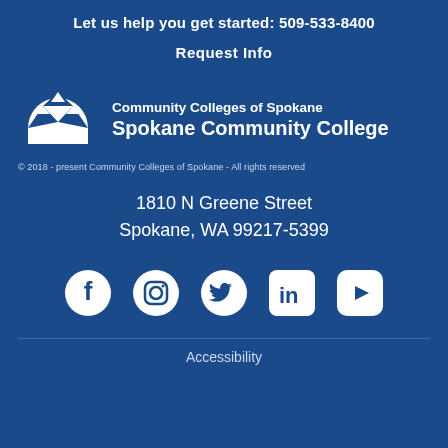Let us help you get started: 509-533-8400
Request Info
[Figure (logo): Community Colleges of Spokane / Spokane Community College logo with mountain icon]
© 2018 - present Community Colleges of Spokane - All rights reserved
1810 N Greene Street
Spokane, WA 99217-5399
[Figure (other): Social media icons: Facebook, Instagram, Twitter, LinkedIn, YouTube]
Accessibility